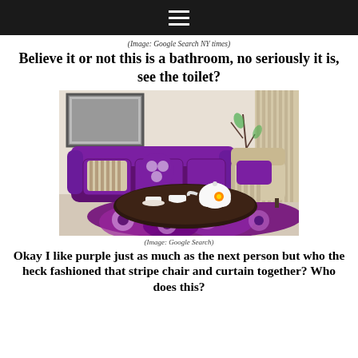☰ (hamburger menu)
(Image: Google Search NY times)
Believe it or not this is a bathroom, no seriously it is, see the toilet?
[Figure (photo): Interior living room with purple sofa, striped armchair with purple cushion, purple floral rug, dark oval coffee table with tea set, striped curtains in background, framed artwork on wall.]
(Image: Google Search)
Okay I like purple just as much as the next person but who the heck fashioned that stripe chair and curtain together? Who does this?